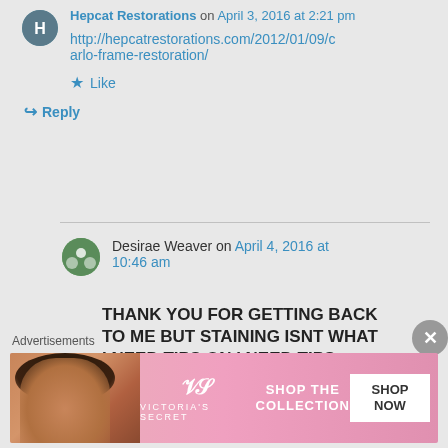Hepcat Restorations on April 3, 2016 at 2:21 pm
http://hepcatrestorations.com/2012/01/09/carlo-frame-restoration/
Like
Reply
Desirae Weaver on April 4, 2016 at 10:46 am
THANK YOU FOR GETTING BACK TO ME BUT STAINING ISNT WHAT I NEED TIPS ON I NEED TIPS
Advertisements
[Figure (photo): Victoria's Secret advertisement banner with model, VS logo, SHOP THE COLLECTION text, and SHOP NOW button]